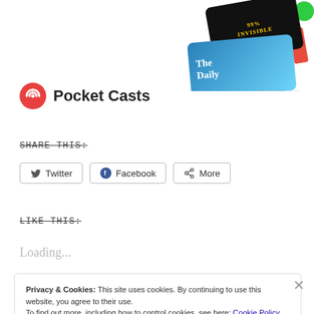[Figure (screenshot): Ad showing podcast app cards: 99% Invisible black card and The Daily blue card]
[Figure (logo): Pocket Casts logo — red circular icon with white spiral and bold text 'Pocket Casts']
SHARE THIS:
Twitter | Facebook | More (share buttons)
LIKE THIS:
Loading...
Privacy & Cookies: This site uses cookies. By continuing to use this website, you agree to their use.
To find out more, including how to control cookies, see here: Cookie Policy
Close and accept